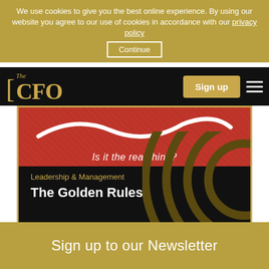We use cookies to give you the best online experience. By using our website you agree to our use of cookies in accordance with our privacy policy
Continue
The CFO
Sign up
[Figure (screenshot): Hero image with red textured background, white swirl/wave graphic, and italic text 'Is it the real thing?' overlaid on red strip. Dark background with decorative gold concentric circles on the right side.]
Leadership & Management
The Golden Rules
⏱ 11y |  Junie Tong
Sign up to our Newsletter